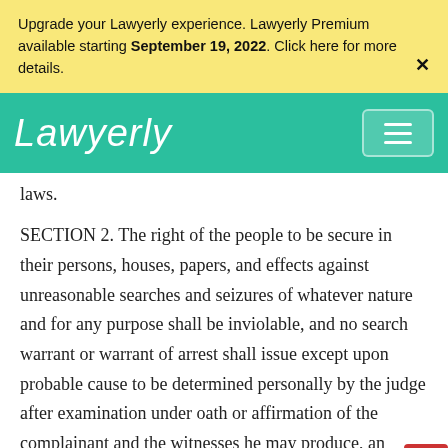Upgrade your Lawyerly experience. Lawyerly Premium available starting September 19, 2022. Click here for more details.
[Figure (logo): Lawyerly logo in white cursive script on teal/green background with hamburger menu button]
laws.
SECTION 2. The right of the people to be secure in their persons, houses, papers, and effects against unreasonable searches and seizures of whatever nature and for any purpose shall be inviolable, and no search warrant or warrant of arrest shall issue except upon probable cause to be determined personally by the judge after examination under oath or affirmation of the complainant and the witnesses he may produce, and particularly describing the place to be searched and the